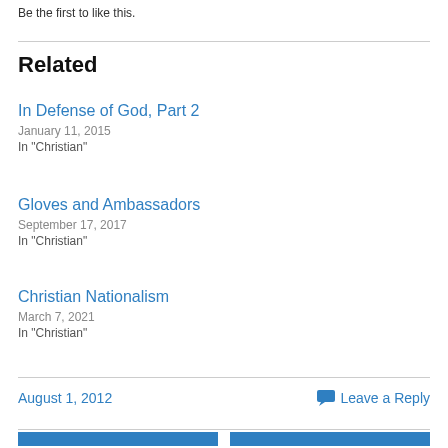Be the first to like this.
Related
In Defense of God, Part 2
January 11, 2015
In "Christian"
Gloves and Ambassadors
September 17, 2017
In "Christian"
Christian Nationalism
March 7, 2021
In "Christian"
August 1, 2012
Leave a Reply